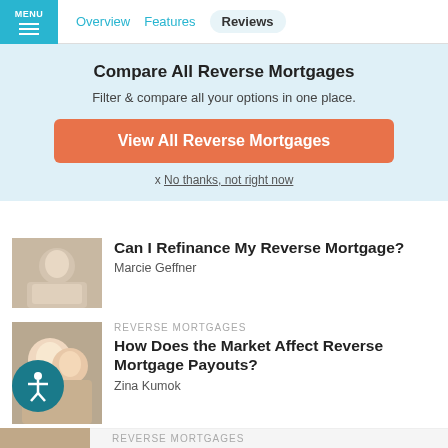MENU | Overview | Features | Reviews
Compare All Reverse Mortgages
Filter & compare all your options in one place.
View All Reverse Mortgages
x No thanks, not right now
Can I Refinance My Reverse Mortgage?
Marcie Geffner
REVERSE MORTGAGES
How Does the Market Affect Reverse Mortgage Payouts?
Zina Kumok
REVERSE MORTGAGES